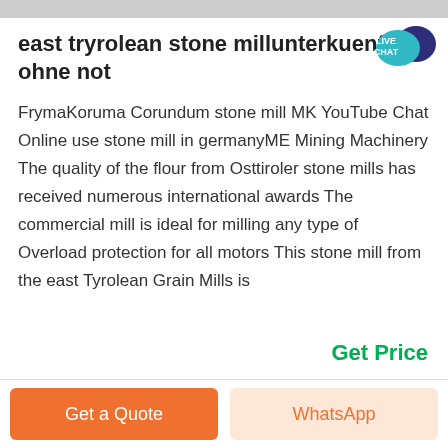[Figure (photo): Partial image strip at top of page, cropped photo]
east tryrolean stone millunterkuenfte ohne not
FrymaKoruma Corundum stone mill MK YouTube Chat Online use stone mill in germanyME Mining Machinery The quality of the flour from Osttiroler stone mills has received numerous international awards The commercial mill is ideal for milling any type of Overload protection for all motors This stone mill from the east Tyrolean Grain Mills is
[Figure (illustration): Live Chat speech bubble badge icon, teal/dark blue colors]
Get Price
Get a Quote   WhatsApp